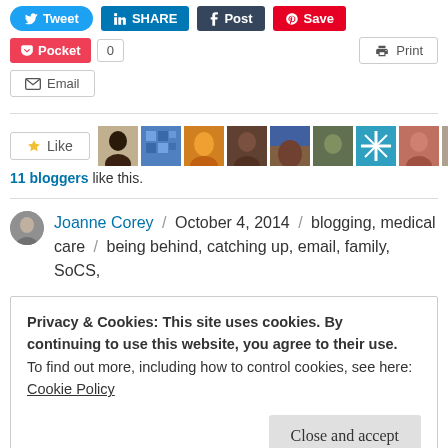[Figure (screenshot): Social sharing buttons row: Tweet (blue), SHARE (LinkedIn, dark blue), Post (Tumblr, dark), Save (Pinterest, red)]
[Figure (screenshot): Second row of share buttons: Pocket (red) with count 0, and Print button (right)]
[Figure (screenshot): Email button]
[Figure (screenshot): Like button with blogger avatars showing 9 profile pictures]
11 bloggers like this.
Joanne Corey / October 4, 2014 / blogging, medical care / being behind, catching up, email, family, SoCS,
Privacy & Cookies: This site uses cookies. By continuing to use this website, you agree to their use.
To find out more, including how to control cookies, see here:
Cookie Policy
Close and accept
We just found out that our firstborn daughter